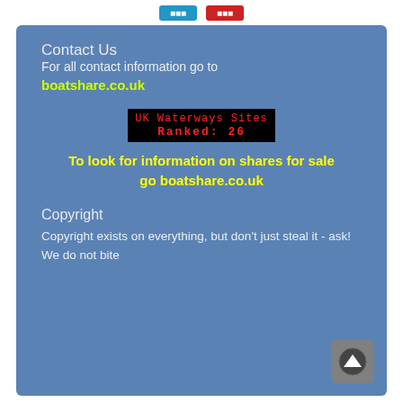Contact Us
For all contact information go to
boatshare.co.uk
[Figure (other): UK Waterways Sites ranked badge showing 'UK Waterways Sites Ranked: 26' in red LED font on black background]
To look for information on shares for sale go boatshare.co.uk
Copyright
Copyright exists on everything, but don't just steal it - ask!
We do not bite